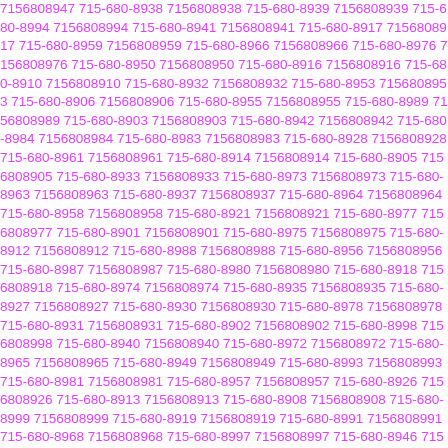7156808947 715-680-8938 7156808938 715-680-8939 7156808939 715-680-8994 7156808994 715-680-8941 7156808941 715-680-8917 7156808917 715-680-8959 7156808959 715-680-8966 7156808966 715-680-8976 7156808976 715-680-8950 7156808950 715-680-8916 7156808916 715-680-8910 7156808910 715-680-8932 7156808932 715-680-8953 7156808953 715-680-8906 7156808906 715-680-8955 7156808955 715-680-8989 7156808989 715-680-8903 7156808903 715-680-8942 7156808942 715-680-8984 7156808984 715-680-8983 7156808983 715-680-8928 7156808928 715-680-8961 7156808961 715-680-8914 7156808914 715-680-8905 7156808905 715-680-8933 7156808933 715-680-8973 7156808973 715-680-8963 7156808963 715-680-8937 7156808937 715-680-8964 7156808964 715-680-8958 7156808958 715-680-8921 7156808921 715-680-8977 7156808977 715-680-8901 7156808901 715-680-8975 7156808975 715-680-8912 7156808912 715-680-8988 7156808988 715-680-8956 7156808956 715-680-8987 7156808987 715-680-8980 7156808980 715-680-8918 7156808918 715-680-8974 7156808974 715-680-8935 7156808935 715-680-8927 7156808927 715-680-8930 7156808930 715-680-8978 7156808978 715-680-8931 7156808931 715-680-8902 7156808902 715-680-8998 7156808998 715-680-8940 7156808940 715-680-8972 7156808972 715-680-8965 7156808965 715-680-8949 7156808949 715-680-8993 7156808993 715-680-8981 7156808981 715-680-8957 7156808957 715-680-8926 7156808926 715-680-8913 7156808913 715-680-8908 7156808908 715-680-8999 7156808999 715-680-8919 7156808919 715-680-8991 7156808991 715-680-8968 7156808968 715-680-8997 7156808997 715-680-8946 7156808946